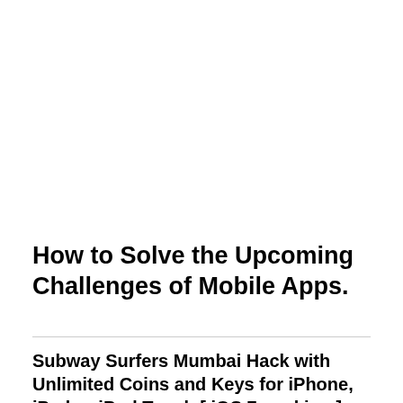How to Solve the Upcoming Challenges of Mobile Apps.
Subway Surfers Mumbai Hack with Unlimited Coins and Keys for iPhone, iPad or iPod Touch [ iOS 7 working ]